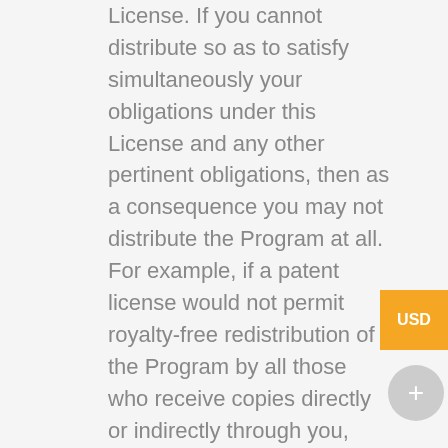License. If you cannot distribute so as to satisfy simultaneously your obligations under this License and any other pertinent obligations, then as a consequence you may not distribute the Program at all. For example, if a patent license would not permit royalty-free redistribution of the Program by all those who receive copies directly or indirectly through you, then the only way you could satisfy both it and this License would be to refrain entirely from distribution of the Program.
If any portion of this section is held invalid or unenforceable under any particular circumstance, the balance of the section is intended to apply and the section as a whole is intended to apply in other circumstances.